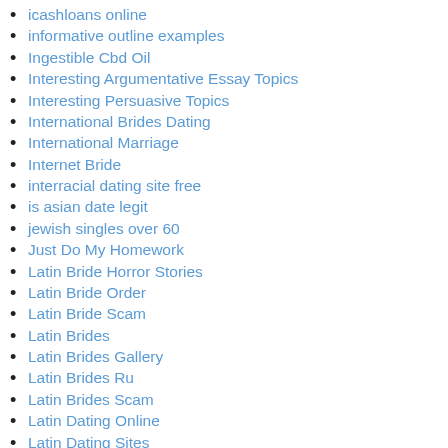icashloans online
informative outline examples
Ingestible Cbd Oil
Interesting Argumentative Essay Topics
Interesting Persuasive Topics
International Brides Dating
International Marriage
Internet Bride
interracial dating site free
is asian date legit
jewish singles over 60
Just Do My Homework
Latin Bride Horror Stories
Latin Bride Order
Latin Bride Scam
Latin Brides
Latin Brides Gallery
Latin Brides Ru
Latin Brides Scam
Latin Dating Online
Latin Dating Sites
Latin Girls